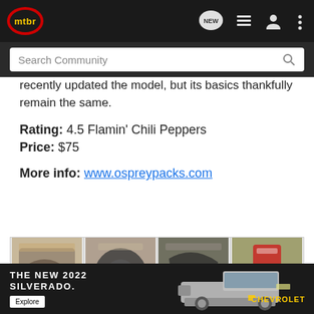mtbr — navigation header with search bar
recently updated the model, but its basics thankfully remain the same.
Rating: 4.5 Flamin' Chili Peppers
Price: $75
More info: www.ospreypacks.com
[Figure (photo): Gallery of four product photos showing hydration pack/hip pack from different angles]
[Figure (screenshot): Advertisement banner: THE NEW 2022 SILVERADO. Explore. Chevrolet. Shows silver truck.]